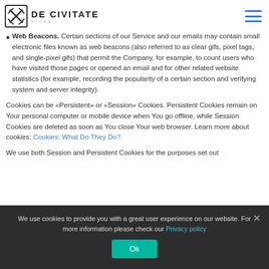DE CIVITATE
Web Beacons. Certain sections of our Service and our emails may contain small electronic files known as web beacons (also referred to as clear gifs, pixel tags, and single-pixel gifs) that permit the Company, for example, to count users who have visited those pages or opened an email and for other related website statistics (for example, recording the popularity of a certain section and verifying system and server integrity).
Cookies can be «Persistent» or «Session» Cookies. Persistent Cookies remain on Your personal computer or mobile device when You go offline, while Session Cookies are deleted as soon as You close Your web browser. Learn more about cookies: Cookies: What Do They Do?.
We use both Session and Persistent Cookies for the purposes set out
We use cookies to provide you with a great user experience on our website. For more information please check our Privacy policy